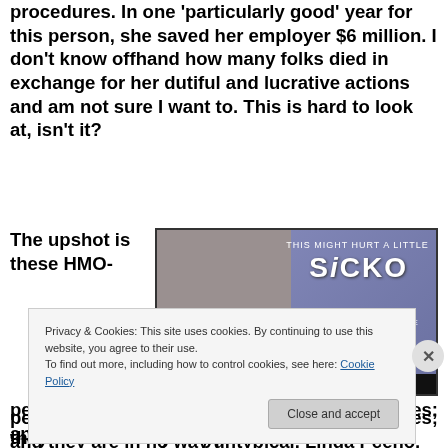procedures. In one 'particularly good' year for this person, she saved her employer $6 million. I don't know offhand how many folks died in exchange for her dutiful and lucrative actions and am not sure I want to. This is hard to look at, isn't it?
The upshot is these HMO-
[Figure (photo): Movie poster for 'SiCKO' - A Film by Michael Moore. Text reads 'THIS MIGHT HURT A LITTLE', 'SiCKO', 'A FILM BY MICHAEL MOORE', 'OPENING EVERYWHERE JUNE 29'. Shows Michael Moore's face on the left side.]
persons were rewarded for taking people's lives; and they are in no way untypical. Linda Peeno, the
Privacy & Cookies: This site uses cookies. By continuing to use this website, you agree to their use.
To find out more, including how to control cookies, see here: Cookie Policy
Close and accept